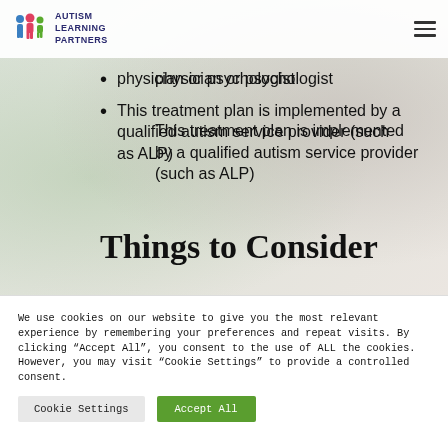[Figure (logo): Autism Learning Partners logo with colorful figures icon and text]
physician or psychologist
This treatment plan is implemented by a qualified autism service provider (such as ALP)
Things to Consider
We use cookies on our website to give you the most relevant experience by remembering your preferences and repeat visits. By clicking "Accept All", you consent to the use of ALL the cookies. However, you may visit "Cookie Settings" to provide a controlled consent.
Cookie Settings   Accept All